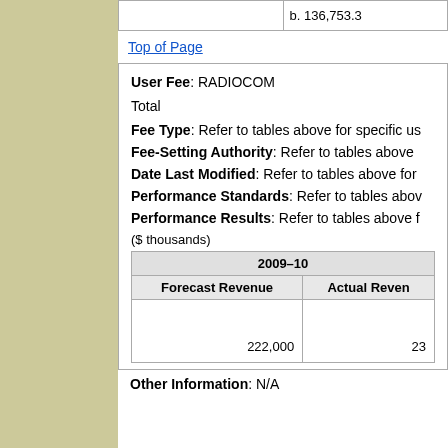|  | b. 136,753.3 |
| --- | --- |
|  |
Top of Page
User Fee: RADIOCOM
Total
Fee Type: Refer to tables above for specific us
Fee-Setting Authority: Refer to tables above
Date Last Modified: Refer to tables above for
Performance Standards: Refer to tables abov
Performance Results: Refer to tables above f
($ thousands)
| 2009–10 |  |
| --- | --- |
| Forecast Revenue | Actual Reven |
| 222,000 | 23 |
Other Information: N/A